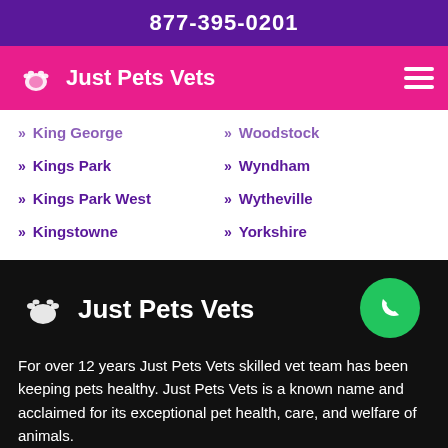877-395-0201
Just Pets Vets
King George
Woodstock
Kings Park
Wyndham
Kings Park West
Wytheville
Kingstowne
Yorkshire
Just Pets Vets
For over 12 years Just Pets Vets skilled vet team has been keeping pets healthy. Just Pets Vets is a known name and acclaimed for its exceptional pet health, care, and welfare of animals.